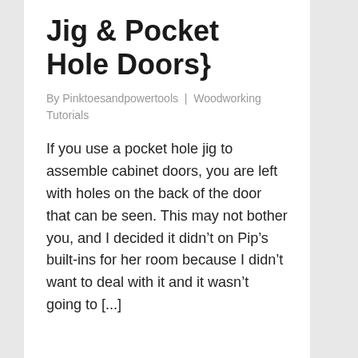Jig & Pocket Hole Doors}
By Pinktoesandpowertools | Woodworking Tutorials
If you use a pocket hole jig to assemble cabinet doors, you are left with holes on the back of the door that can be seen. This may not bother you, and I decided it didn't on Pip's built-ins for her room because I didn't want to deal with it and it wasn't going to [...]